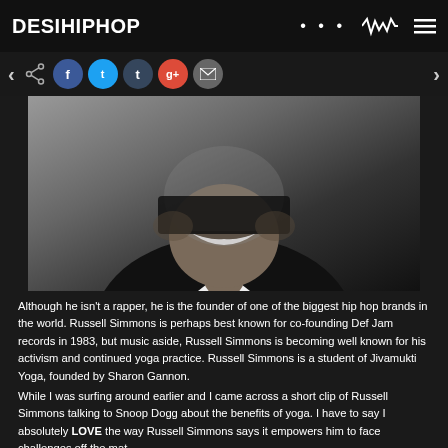DESIHIPHOP
[Figure (photo): Black and white photo of Russell Simmons smiling, wearing a suit, cropped to show lower face and upper body]
Although he isn't a rapper, he is the founder of one of the biggest hip hop brands in the world. Russell Simmons is perhaps best known for co-founding Def Jam records in 1983, but music aside, Russell Simmons is becoming well known for his activism and continued yoga practice. Russell Simmons is a student of Jivamukti Yoga, founded by Sharon Gannon.
While I was surfing around earlier and I came across a short clip of Russell Simmons talking to Snoop Dogg about the benefits of yoga. I have to say I absolutely LOVE the way Russell Simmons says it empowers him to face challenges off the mat.